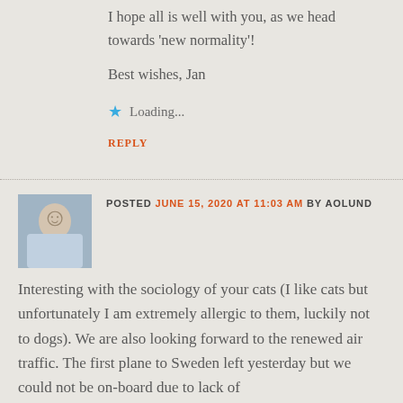I hope all is well with you, as we head towards ‘new normality’!
Best wishes, Jan
Loading...
REPLY
POSTED JUNE 15, 2020 AT 11:03 AM BY AOLUND
Interesting with the sociology of your cats (I like cats but unfortunately I am extremely allergic to them, luckily not to dogs). We are also looking forward to the renewed air traffic. The first plane to Sweden left yesterday but we could not be on-board due to lack of